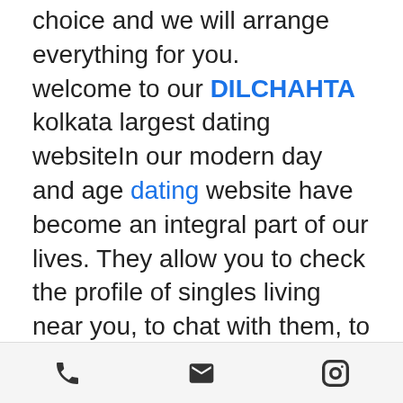choice and we will arrange everything for you. welcome to our DILCHAHTA kolkata largest dating websiteIn our modern day and age dating website have become an integral part of our lives. They allow you to check the profile of singles living near you, to chat with them, to meet them and maybe to fall in love. If you're searching for a simple dating app with free features allowing to meet singles, you're in good hands with DilChahta...
Phone | Email | Instagram